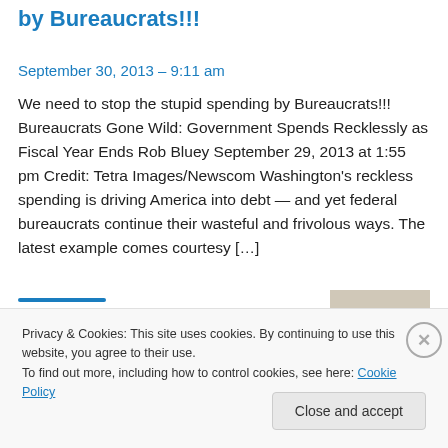by Bureaucrats!!!
September 30, 2013 – 9:11 am
We need to stop the stupid spending by Bureaucrats!!! Bureaucrats Gone Wild: Government Spends Recklessly as Fiscal Year Ends Rob Bluey September 29, 2013 at 1:55 pm Credit: Tetra Images/Newscom Washington's reckless spending is driving America into debt — and yet federal bureaucrats continue their wasteful and frivolous ways. The latest example comes courtesy […]
Privacy & Cookies: This site uses cookies. By continuing to use this website, you agree to their use.
To find out more, including how to control cookies, see here: Cookie Policy